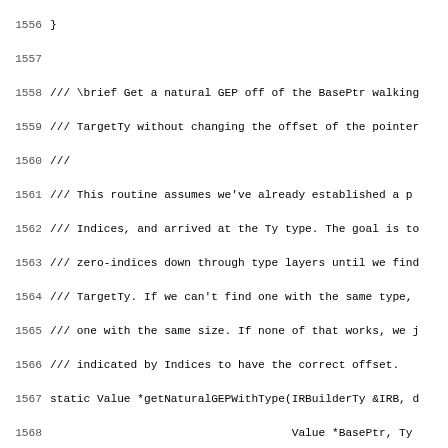Source code listing, lines 1556-1587, showing C++ function getNaturalGEPWithType